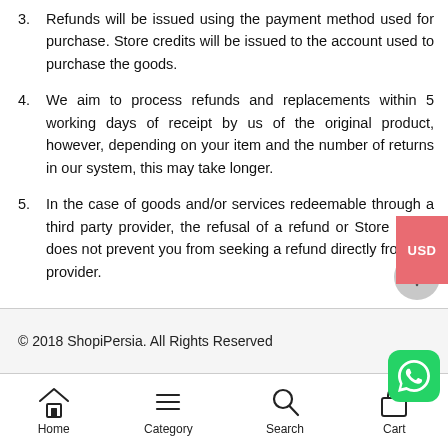3. Refunds will be issued using the payment method used for purchase. Store credits will be issued to the account used to purchase the goods.
4. We aim to process refunds and replacements within 5 working days of receipt by us of the original product, however, depending on your item and the number of returns in our system, this may take longer.
5. In the case of goods and/or services redeemable through a third party provider, the refusal of a refund or Store Credit does not prevent you from seeking a refund directly from the provider.
© 2018 ShopiPersia. All Rights Reserved